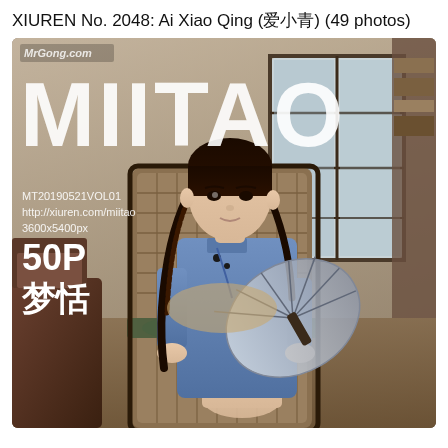XIUREN No. 2048: Ai Xiao Qing (爱小青) (49 photos)
[Figure (photo): Magazine cover photo for MIITAO featuring a young woman in a blue qipao/cheongsam dress seated in a wicker chair, holding a decorative fan. Text overlay shows MIITAO logo, MT20190521VOL01, http://xiuren.com/miitao, 3600x5400px, 50P, 梦恬. Watermark: MrGong.com]